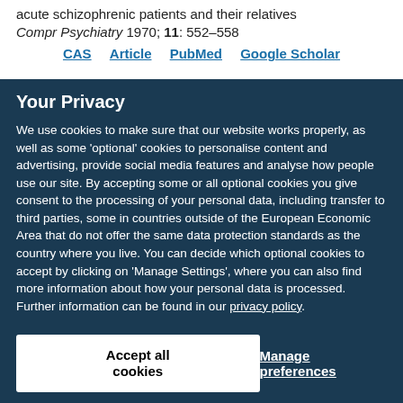acute schizophrenic patients and their relatives Compr Psychiatry 1970; 11: 552–558
CAS  Article  PubMed  Google Scholar
Your Privacy
We use cookies to make sure that our website works properly, as well as some 'optional' cookies to personalise content and advertising, provide social media features and analyse how people use our site. By accepting some or all optional cookies you give consent to the processing of your personal data, including transfer to third parties, some in countries outside of the European Economic Area that do not offer the same data protection standards as the country where you live. You can decide which optional cookies to accept by clicking on 'Manage Settings', where you can also find more information about how your personal data is processed. Further information can be found in our privacy policy.
Accept all cookies
Manage preferences